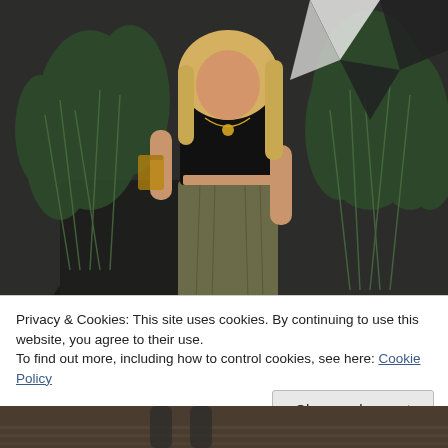[Figure (photo): A blonde woman wearing a black crop top and olive/khaki maxi skirt, holding a drink, standing in front of large dark planters with tropical plants. Black and white geometric pattern visible in background.]
Privacy & Cookies: This site uses cookies. By continuing to use this website, you agree to their use.
To find out more, including how to control cookies, see here: Cookie Policy
[Figure (photo): Partial bottom photo visible, appears to show a person's lower body/legs.]